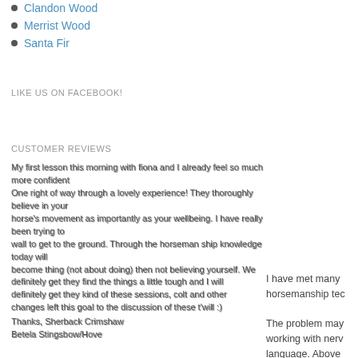Clandon Wood
Merrist Wood
Santa Fir
LIKE US ON FACEBOOK!
CUSTOMER REVIEWS
My first lesson this morning with fiona and I already feel so much more confident One right of way through a lovely experience! They thoroughly believe in your horse's movement as importantly as your wellbeing. I have really been trying to call the horse to wall to get to the ground. Through the horseman ship knowledge today will become thing (not about doing) then not believing yourself. We definitely get they find the things a little tough and I will definitely get they kind of these sessions, colt and other changes left this goal to the discussion of these t'will :)

Thanks, Sherback Crimshaw
Betela Stingsbow/Hove
I have met many horsemanship tec

The problem may working with nerv language. Above